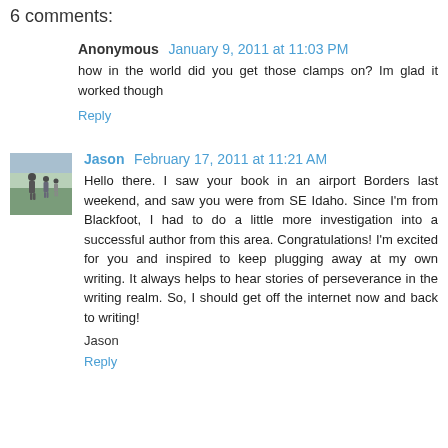6 comments:
Anonymous January 9, 2011 at 11:03 PM
how in the world did you get those clamps on? Im glad it worked though
Reply
[Figure (photo): Small avatar photo of Jason showing people walking]
Jason February 17, 2011 at 11:21 AM
Hello there. I saw your book in an airport Borders last weekend, and saw you were from SE Idaho. Since I'm from Blackfoot, I had to do a little more investigation into a successful author from this area. Congratulations! I'm excited for you and inspired to keep plugging away at my own writing. It always helps to hear stories of perseverance in the writing realm. So, I should get off the internet now and back to writing!
Jason
Reply